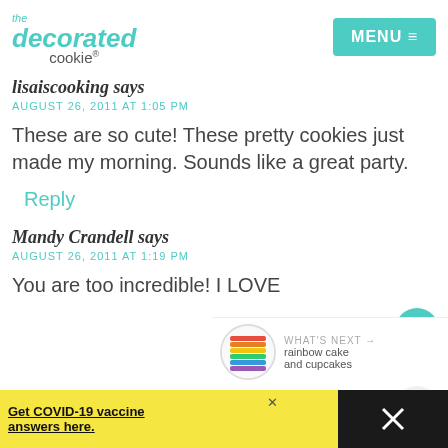the decorated cookie | MENU
lisaiscooking says
AUGUST 26, 2011 AT 1:05 PM
These are so cute! These pretty cookies just made my morning. Sounds like a great party.
Reply
Mandy Crandell says
AUGUST 26, 2011 AT 1:19 PM
You are too incredible! I LOVE
[Figure (infographic): Heart/like button with count 144 and share button widget on right side]
[Figure (infographic): What's Next widget showing rainbow cake and cupcakes thumbnail]
Get COVID-19 vaccine answers here. (ad council / CDC advertisement banner)